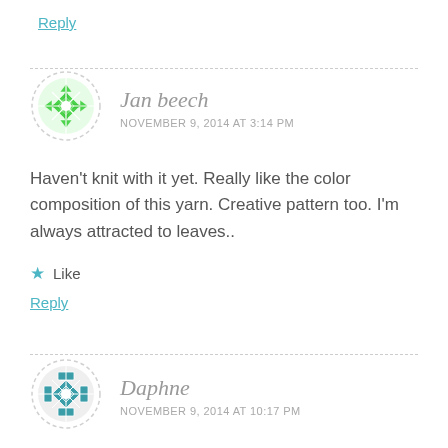Reply
Jan beech
NOVEMBER 9, 2014 AT 3:14 PM
Haven't knit with it yet. Really like the color composition of this yarn. Creative pattern too. I'm always attracted to leaves..
Like
Reply
Daphne
NOVEMBER 9, 2014 AT 10:17 PM